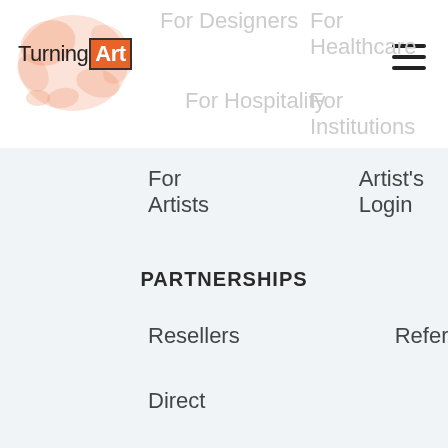[Figure (logo): TurningArt logo with orange splatter background and orange box around 'Art']
For Designers
For Healthcare
For Hospitality
For Institutions
For Artists
Artist's Login
PARTNERSHIPS
Resellers
Referral
Direct
OUR ART IN ACTION
Gallery
Case Studies
Studio Visits